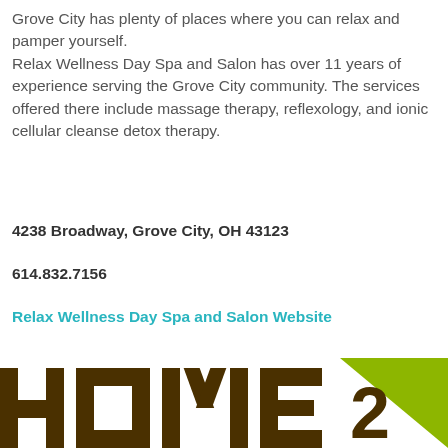Grove City has plenty of places where you can relax and pamper yourself.
Relax Wellness Day Spa and Salon has over 11 years of experience serving the Grove City community. The services offered there include massage therapy, reflexology, and ionic cellular cleanse detox therapy.
4238 Broadway, Grove City, OH 43123
614.832.7156
Relax Wellness Day Spa and Salon Website
Adventure Options
[Figure (logo): HOME2 logo with olive green and dark brown colors, partially visible at bottom of page]